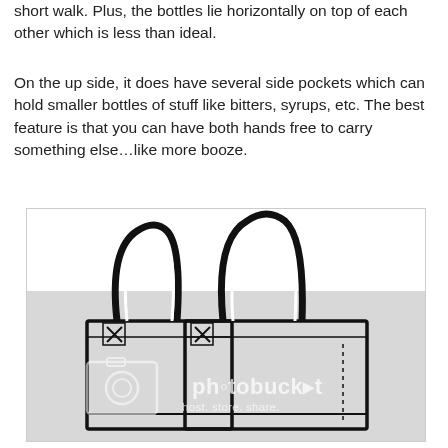short walk. Plus, the bottles lie horizontally on top of each other which is less than ideal.
On the up side, it does have several side pockets which can hold smaller bottles of stuff like bitters, syrups, etc. The best feature is that you can have both hands free to carry something else…like more booze.
[Figure (illustration): Line drawing illustration of a tote bag / carrier bag with handles, shown in a white upper portion and a gray lower portion. A Photobucket watermark is visible in the gray area.]